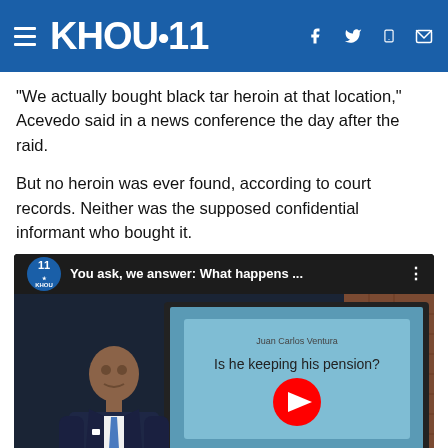KHOU 11
“We actually bought black tar heroin at that location,” Acevedo said in a news conference the day after the raid.
But no heroin was ever found, according to court records. Neither was the supposed confidential informant who bought it.
[Figure (screenshot): YouTube video thumbnail embedded in KHOU 11 news article. Shows a news anchor in a dark suit standing in front of a TV monitor displaying text 'Juan Carlos Ventura' and 'Is he keeping his pension?' with a YouTube play button. Video title reads 'You ask, we answer: What happens ...']